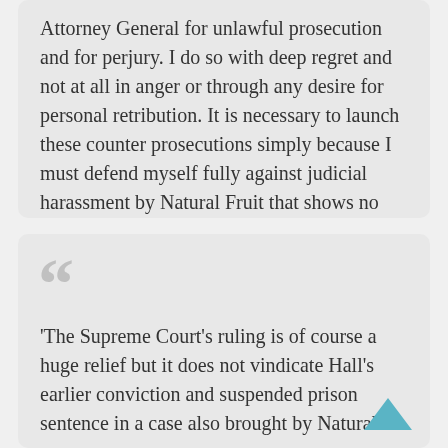Attorney General for unlawful prosecution and for perjury. I do so with deep regret and not at all in anger or through any desire for personal retribution. It is necessary to launch these counter prosecutions simply because I must defend myself fully against judicial harassment by Natural Fruit that shows no signs of abating.'
'The Supreme Court's ruling is of course a huge relief but it does not vindicate Hall's earlier conviction and suspended prison sentence in a case also brought by Natural Fruit less than two months ago.